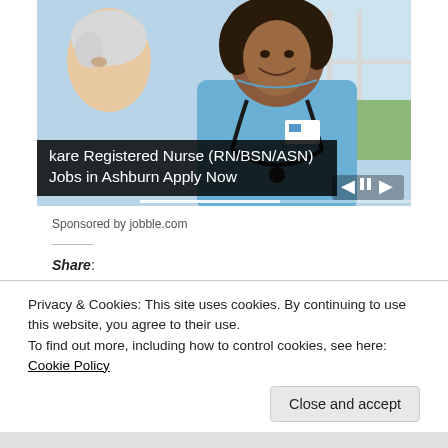[Figure (photo): A smiling nurse in blue scrubs with stethoscope attending to an elderly patient]
kare Registered Nurse (RN/BSN/ASN) Jobs in Ashburn Apply Now
Sponsored by jobble.com
Share:
Privacy & Cookies: This site uses cookies. By continuing to use this website, you agree to their use.
To find out more, including how to control cookies, see here: Cookie Policy